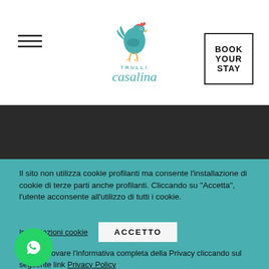[Figure (logo): Trulli Casalina logo with a rooster illustration and stylized cursive text]
[Figure (other): BOOK YOUR STAY button with black border and bold black text]
[Figure (other): Dark/black band across the page]
Il sito non utilizza cookie profilanti ma consente l'installazione di cookie di terze parti anche profilanti. Cliccando su “Accetta”, l’utente acconsente all’utilizzo di tutti i cookie.
Impostazioni cookie
ACCETTO
Potrete trovare l’informativa completa della Privacy cliccando sul seguente link Privacy Policy
Potrete trovare l’elenco di completo di tutti i cookie cliccando sul seguente link CookiePolicy
[Figure (other): WhatsApp floating button - green circle with phone icon]